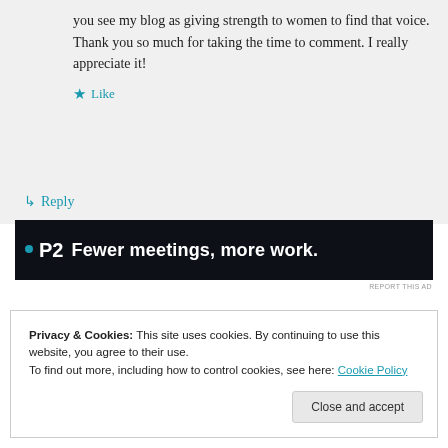you see my blog as giving strength to women to find that voice. Thank you so much for taking the time to comment. I really appreciate it!
★ Like
↳ Reply
[Figure (other): Advertisement banner with dark background showing '.P2 Fewer meetings, more work.' tagline]
REPORT THIS AD
Privacy & Cookies: This site uses cookies. By continuing to use this website, you agree to their use.
To find out more, including how to control cookies, see here: Cookie Policy
Close and accept